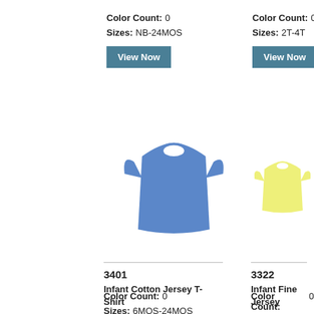Color Count: 0
Sizes: NB-24MOS
View Now
Color Count: 0
Sizes: 2T-4T
View Now
[Figure (photo): Blue infant cotton jersey t-shirt on white background]
3401
Infant Cotton Jersey T-Shirt
Color Count: 0
Sizes: 6MOS-24MOS
[Figure (photo): Yellow infant fine jersey t-shirt on white background, partially cropped on right]
3322
Infant Fine Jersey
Color Count: 0
Sizes: 6MOS-2